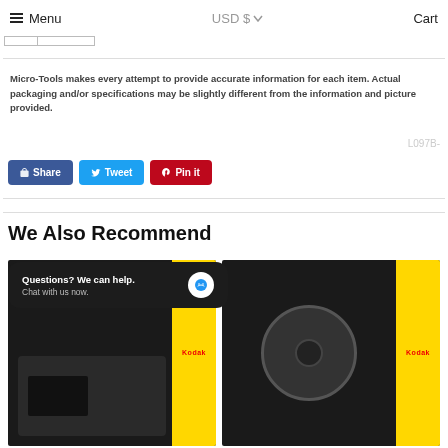Menu  USD $  Cart
Micro-Tools makes every attempt to provide accurate information for each item. Actual packaging and/or specifications may be slightly different from the information and picture provided.
L097B-
[Figure (screenshot): Social sharing buttons: Share (Facebook, blue), Tweet (Twitter, light blue), Pin it (Pinterest, red)]
We Also Recommend
[Figure (screenshot): Chat popup: Questions? We can help. Chat with us now. with blue chat icon]
[Figure (photo): Product photo on left with yellow Kodak branding - camera/film equipment on black background]
[Figure (photo): Product photo on right with yellow Kodak branding - circular reel/disc on black background]